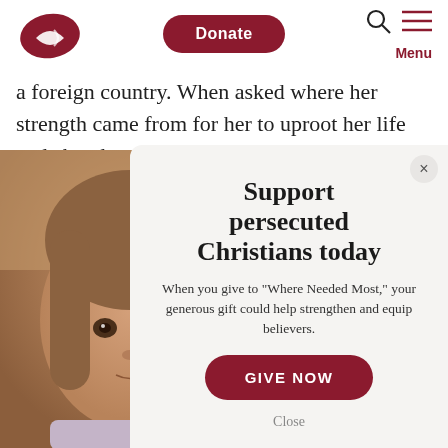[Figure (logo): Open Doors logo - red fish/dove shape with white icon]
Donate
Menu
a foreign country. When asked where her strength came from for her to uproot her life and abandon all she ever
[Figure (photo): Close-up photo of a young girl with brown eyes and light brown hair, wearing a light purple turtleneck sweater]
Support persecuted Christians today
When you give to "Where Needed Most," your generous gift could help strengthen and equip believers.
GIVE NOW
Close